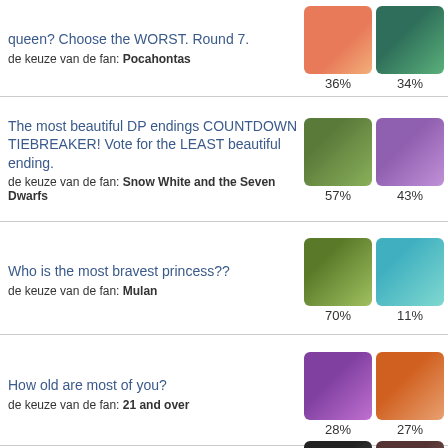queen? Choose the WORST. Round 7.
de keuze van de fan: Pocahontas
36%
34%
The most beautiful DP endings COUNTDOWN TIEBREAKER! Vote for the LEAST beautiful ending.
de keuze van de fan: Snow White and the Seven Dwarfs
57%
43%
Who is the most bravest princess??
de keuze van de fan: Mulan
70%
11%
How old are most of you?
de keuze van de fan: 21 and over
28%
27%
Who do u think will be perfect for a Disney princess?
de keuze van de fan: Ashley Greene